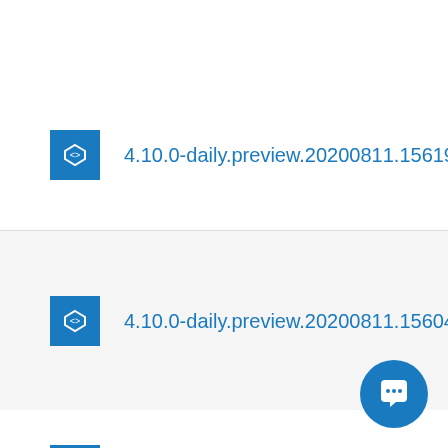4.10.0-daily.preview.20200811.156193
4.10.0-daily.preview.20200811.156048
4.10.0-daily.preview.20200808.1554...